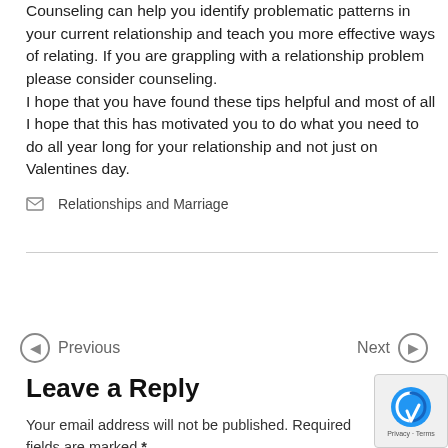Counseling can help you identify problematic patterns in your current relationship and teach you more effective ways of relating. If you are grappling with a relationship problem please consider counseling. I hope that you have found these tips helpful and most of all I hope that this has motivated you to do what you need to do all year long for your relationship and not just on Valentines day.
Relationships and Marriage
Previous
Next
Leave a Reply
Your email address will not be published. Required fields are marked *